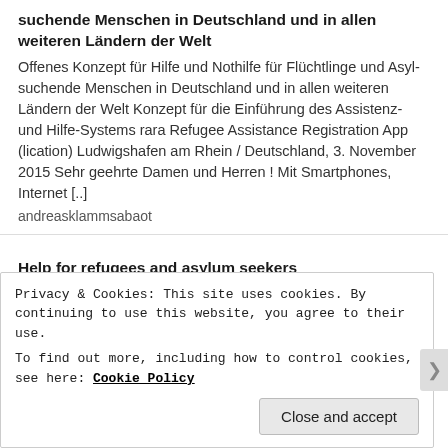suchende Menschen in Deutschland und in allen weiteren Ländern der Welt
Offenes Konzept für Hilfe und Nothilfe für Flüchtlinge und Asyl-suchende Menschen in Deutschland und in allen weiteren Ländern der Welt Konzept für die Einführung des Assistenz- und Hilfe-Systems rara Refugee Assistance Registration App (lication) Ludwigshafen am Rhein / Deutschland, 3. November 2015 Sehr geehrte Damen und Herren ! Mit Smartphones, Internet [..]
andreasklammsabaot
Help for refugees and asylum seekers
Help for refugees and aylum seekers Dear refugees and asylum seekers ! You will find a lot of information with our public group on Facebook irscglobal which could perhaps help you in some areas. Liebe Flüchtlinge und Asyl – suchende Menschen ! Sie finden eine Viel...
Privacy & Cookies: This site uses cookies. By continuing to use this website, you agree to their use.
To find out more, including how to control cookies, see here: Cookie Policy
Close and accept